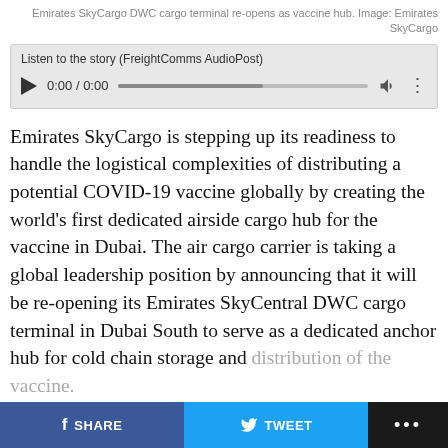Emirates SkyCargo DWC cargo terminal re-opens as vaccine hub. Image: Emirates SkyCargo
[Figure (screenshot): Audio player widget with play button, time display showing 0:00 / 0:00, progress bar, volume icon, and options dots. Label reads: Listen to the story (FreightComms AudioPost)]
Emirates SkyCargo is stepping up its readiness to handle the logistical complexities of distributing a potential COVID-19 vaccine globally by creating the world's first dedicated airside cargo hub for the vaccine in Dubai. The air cargo carrier is taking a global leadership position by announcing that it will be re-opening its Emirates SkyCentral DWC cargo terminal in Dubai South to serve as a dedicated anchor hub for cold chain storage and distribution of the vaccine.
The text is cut off/faded at the bottom of the page.
SHARE  TWEET  ...